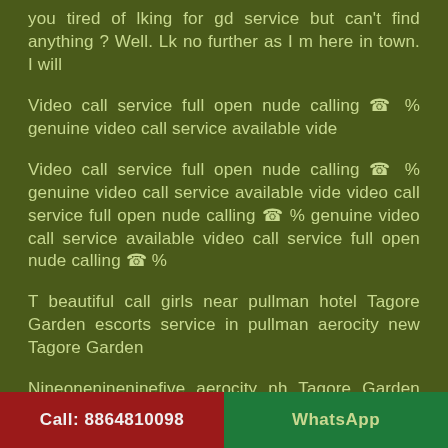you tired of lking for gd service but can't find anything ? Well. Lk no further as I m here in town. I will
Video call service  full open nude  calling ☎ % genuine video call service available  vide
Video call service  full open nude  calling ☎ % genuine video call service available  vide video call service   full open nude  calling ☎  % genuine video call service available  video call service  full open nude  calling ☎  %
T beautiful call girls near pullman hotel Tagore Garden escorts service in pullman aerocity new Tagore Garden
Nineonenineninefive aerocity nh Tagore Garden star hotel escorts service near andaz aerocity new Tagore Garden russian call girls near andaz Tagore Garden. Call((nineonenineninefive)) most beautiful russian escorts near pride plaza hotel
Call: 8864810098    WhatsApp